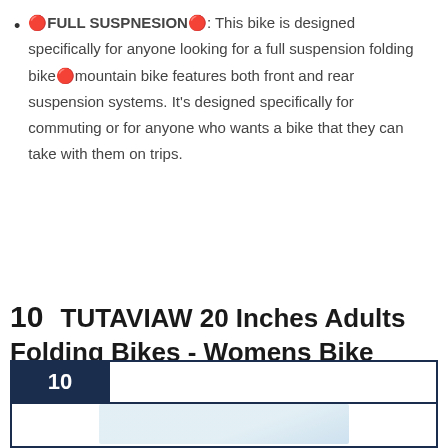🔴FULL SUSPNESION🔴: This bike is designed specifically for anyone looking for a full suspension folding bike🔴mountain bike features both front and rear suspension systems. It's designed specifically for commuting or for anyone who wants a bike that they can take with them on trips.
10   TUTAVIAW 20 Inches Adults Folding Bikes - Womens Bike Complete Cruiser Bikes Beach Cruiser Bike Comfortable Road Bike Commuting Bicycle Foldable Bike for Students
[Figure (other): Product listing card with dark navy badge showing number 10 and a bordered image placeholder area with light blue product image partially visible]